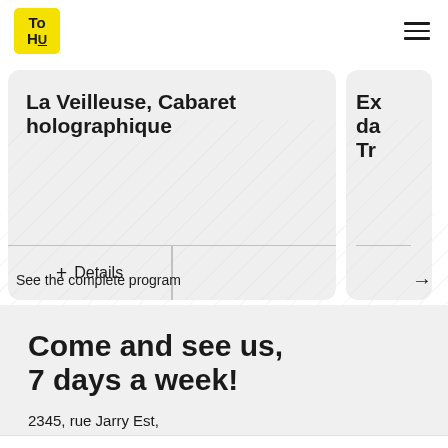[Figure (logo): TOHU logo - yellow square with bold black text 'To' and 'HU']
La Veilleuse, Cabaret holographique
+ Details
Ex... da... Tr...
See the complete program →
Come and see us, 7 days a week!
2345, rue Jarry Est, Montréal (Québec) H1Z 4P3